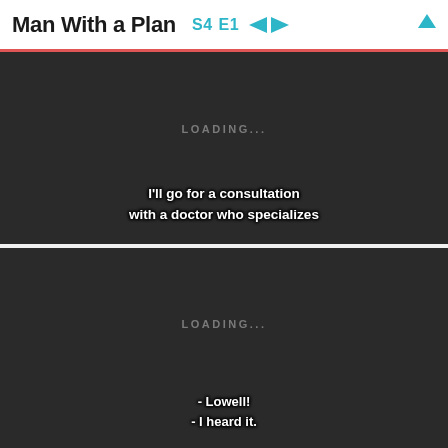Man With a Plan S4 E1
[Figure (screenshot): Dark video player panel showing LOADING... text with subtitle: I'll go for a consultation with a doctor who specializes]
[Figure (screenshot): Dark video player panel showing LOADING... text with subtitle: - Lowell! - I heard it.]